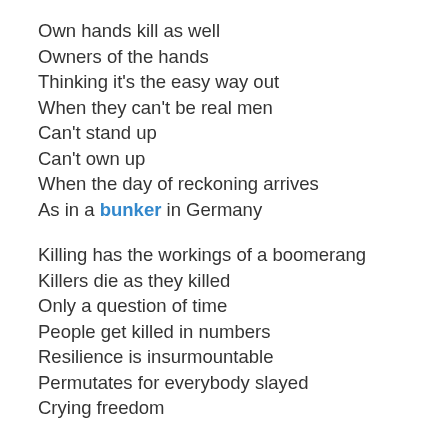Own hands kill as well
Owners of the hands
Thinking it's the easy way out
When they can't be real men
Can't stand up
Can't own up
When the day of reckoning arrives
As in a bunker in Germany
Killing has the workings of a boomerang
Killers die as they killed
Only a question of time
People get killed in numbers
Resilience is insurmountable
Permutates for everybody slayed
Crying freedom